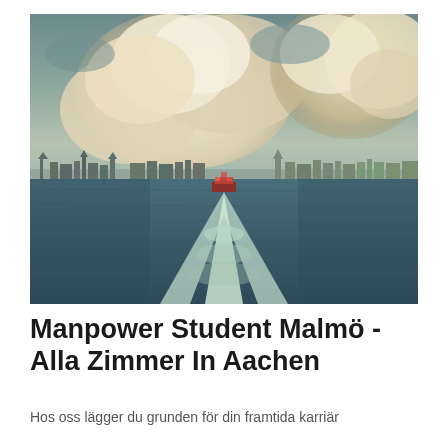[Figure (photo): A waterway scene viewed from a moving boat, showing the boat's white wake trailing behind toward a city skyline with historic buildings and towers. The sky is dramatic with large cumulus clouds. The water is dark blue-teal. The image has a warm vintage color tone.]
Manpower Student Malmö - Alla Zimmer In Aachen
Hos oss lägger du grunden för din framtida karriär